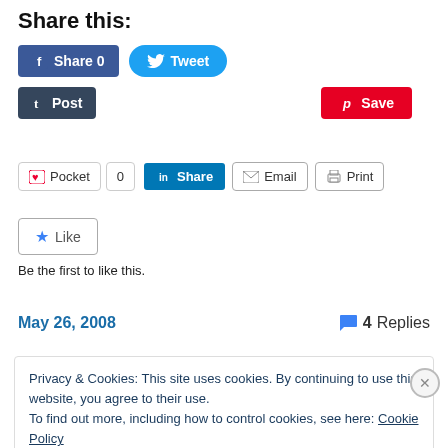Share this:
[Figure (screenshot): Social share buttons: Facebook Share 0, Twitter Tweet, Tumblr Post, Pinterest Save, Pocket 0, LinkedIn Share, Email, Print]
[Figure (infographic): Like button with star icon, with text 'Be the first to like this.']
May 26, 2008
4 Replies
Privacy & Cookies: This site uses cookies. By continuing to use this website, you agree to their use.
To find out more, including how to control cookies, see here: Cookie Policy
Close and accept